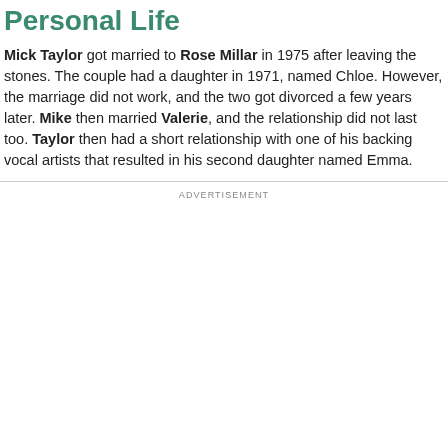Personal Life
Mick Taylor got married to Rose Millar in 1975 after leaving the stones. The couple had a daughter in 1971, named Chloe. However, the marriage did not work, and the two got divorced a few years later. Mike then married Valerie, and the relationship did not last too. Taylor then had a short relationship with one of his backing vocal artists that resulted in his second daughter named Emma.
ADVERTISEMENT